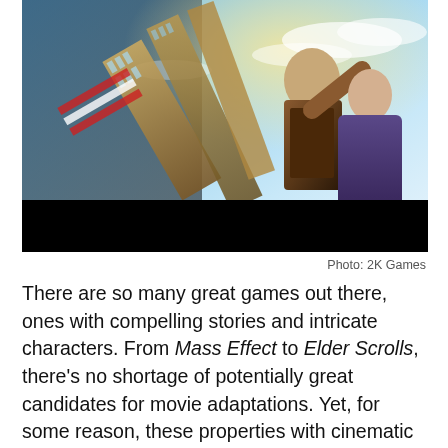[Figure (photo): BioShock Infinite promotional artwork showing two characters — a man in a leather jacket and a woman in a blue dress — with floating city buildings in the background. BioShock Infinite logo visible in bottom left corner.]
Photo: 2K Games
There are so many great games out there, ones with compelling stories and intricate characters. From Mass Effect to Elder Scrolls, there's no shortage of potentially great candidates for movie adaptations. Yet, for some reason, these properties with cinematic potential remain mere possibilities while Resident Evil films continue hitting theaters whether or not anyone asked for them. Need For Speed and Dead or Alive have both been adapted, yet BioShock sits on the shelf. That's just someone choosing to